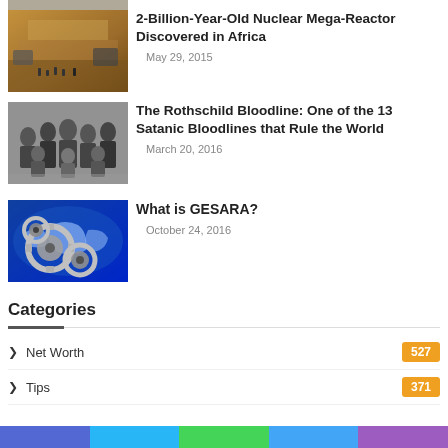[Figure (photo): Partial top image cropped, aerial/landscape scene]
[Figure (photo): Open pit mine or excavation site with workers, orange/brown tones]
2-Billion-Year-Old Nuclear Mega-Reactor Discovered in Africa
May 29, 2015
[Figure (photo): Black and white group family portrait photo]
The Rothschild Bloodline: One of the 13 Satanic Bloodlines that Rule the World
March 20, 2016
[Figure (photo): Blue world map with metallic gears overlay]
What is GESARA?
October 24, 2016
Categories
Net Worth   527
Tips   371